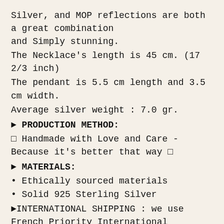Silver, and MOP reflections are both a great combination and Simply stunning.
The Necklace's length is 45 cm. (17 2/3 inch)
The pendant is 5.5 cm length and 3.5 cm width.
Average silver weight : 7.0 gr.
► PRODUCTION METHOD:
☐ Handmade with Love and Care - Because it's better that way ☐
► MATERIALS:
• Ethically sourced materials
• Solid 925 Sterling Silver
►INTERNATIONAL SHIPPING : we use French Priority International Shipping, 5-15 open days, Tracking Number and Insurance Included.
►Your Necklace will come in a beautiful Necklace Case, ideal for gifts or just storing your jewelry safely. It will be posted in an extremely secure package to make sure its safe arrival at your door.